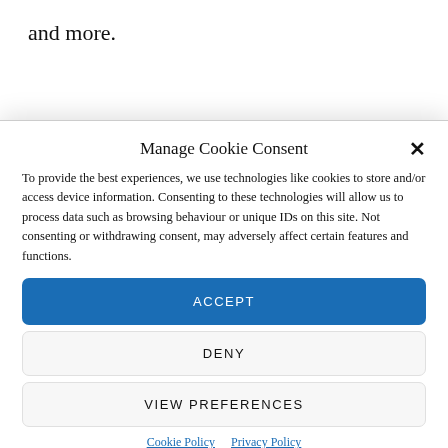and more.
Manage Cookie Consent
To provide the best experiences, we use technologies like cookies to store and/or access device information. Consenting to these technologies will allow us to process data such as browsing behaviour or unique IDs on this site. Not consenting or withdrawing consent, may adversely affect certain features and functions.
ACCEPT
DENY
VIEW PREFERENCES
Cookie Policy   Privacy Policy